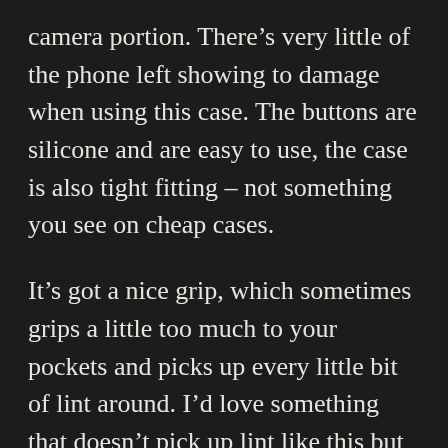camera portion. There's very little of the phone left showing to damage when using this case. The buttons are silicone and are easy to use, the case is also tight fitting – not something you see on cheap cases.
It's got a nice grip, which sometimes grips a little too much to your pockets and picks up every little bit of lint around. I'd love something that doesn't pick up lint like this but in all the years Apple have sold these they haven't managed it yet so I'm thinking there isn't a nice middle ground of grip and not being a lint magnet.